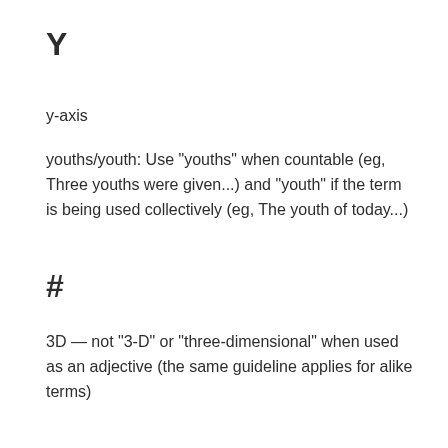Y
y-axis
youths/youth: Use "youths" when countable (eg, Three youths were given...) and "youth" if the term is being used collectively (eg, The youth of today...)
#
3D — not "3-D" or "three-dimensional" when used as an adjective (the same guideline applies for alike terms)